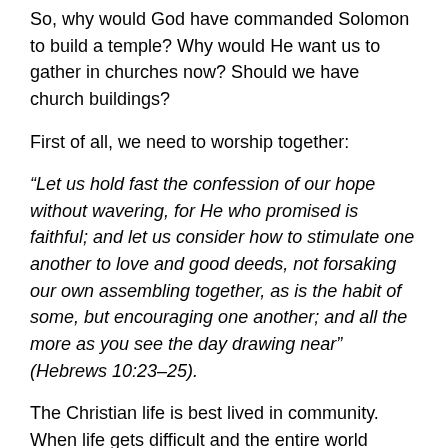So, why would God have commanded Solomon to build a temple? Why would He want us to gather in churches now? Should we have church buildings?
First of all, we need to worship together:
“Let us hold fast the confession of our hope without wavering, for He who promised is faithful; and let us consider how to stimulate one another to love and good deeds, not forsaking our own assembling together, as is the habit of some, but encouraging one another; and all the more as you see the day drawing near” (Hebrews 10:23–25).
The Christian life is best lived in community. When life gets difficult and the entire world seems to be turning against the believer, we need each other. We need to stimulate one another to love and good deeds; we need to be